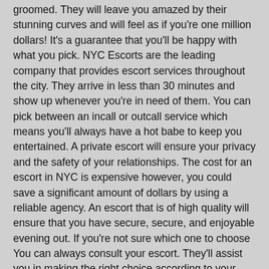groomed. They will leave you amazed by their stunning curves and will feel as if you're one million dollars! It's a guarantee that you'll be happy with what you pick. NYC Escorts are the leading company that provides escort services throughout the city. They arrive in less than 30 minutes and show up whenever you're in need of them. You can pick between an incall or outcall service which means you'll always have a hot babe to keep you entertained. A private escort will ensure your privacy and the safety of your relationships. The cost for an escort in NYC is expensive however, you could save a significant amount of dollars by using a reliable agency. An escort that is of high quality will ensure that you have secure, secure, and enjoyable evening out. If you're not sure which one to choose You can always consult your escort. They'll assist you in making the right choice according to your personal preferences and requirements.
If you don't have a beautiful escort, you can feel bored at a luxury hotel or on gorgeous beaches. By utilizing an agency that pays for companionship that you are able to find a young, friendly, and sexually talented model who will accompany your travels around Dubai. They are adept at touch and sexual charms that will give you the impression of an emperor or queen as exploring this stunning city. In the variety of services provided by the Dubai Escort service, BookRealEscorts have the largest quantity of hot women within the